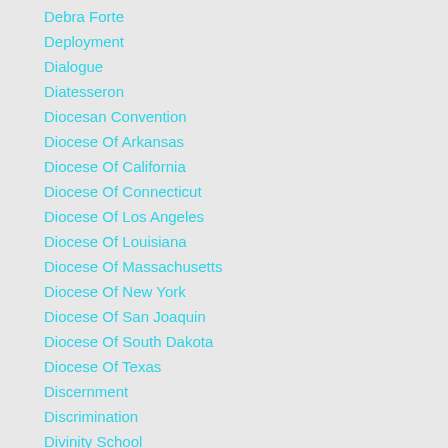Debra Forte
Deployment
Dialogue
Diatesseron
Diocesan Convention
Diocese Of Arkansas
Diocese Of California
Diocese Of Connecticut
Diocese Of Los Angeles
Diocese Of Louisiana
Diocese Of Massachusetts
Diocese Of New York
Diocese Of San Joaquin
Diocese Of South Dakota
Diocese Of Texas
Discernment
Discrimination
Divinity School
Donna Cartwright